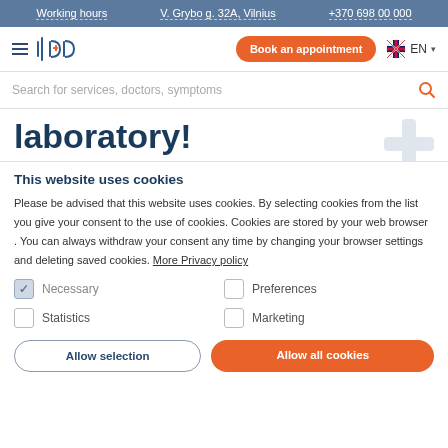Working hours | V. Grybo g. 32A, Vilnius | +370 698 00 000
[Figure (screenshot): Navigation bar with hamburger menu, logo, Book an appointment button, and EN language selector]
Search for services, doctors, symptoms
laboratory!
This website uses cookies
Please be advised that this website uses cookies. By selecting cookies from the list you give your consent to the use of cookies. Cookies are stored by your web browser . You can always withdraw your consent any time by changing your browser settings and deleting saved cookies. More Privacy policy
Necessary | Preferences | Statistics | Marketing
Allow selection | Allow all cookies